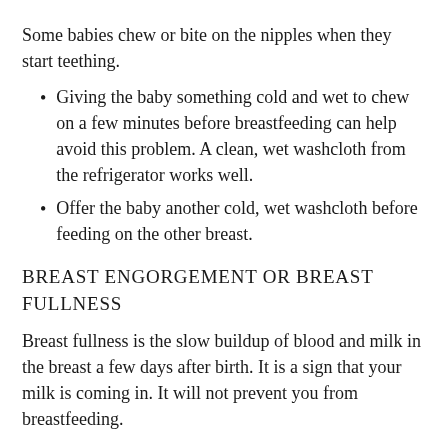Some babies chew or bite on the nipples when they start teething.
Giving the baby something cold and wet to chew on a few minutes before breastfeeding can help avoid this problem. A clean, wet washcloth from the refrigerator works well.
Offer the baby another cold, wet washcloth before feeding on the other breast.
BREAST ENGORGEMENT OR BREAST FULLNESS
Breast fullness is the slow buildup of blood and milk in the breast a few days after birth. It is a sign that your milk is coming in. It will not prevent you from breastfeeding.